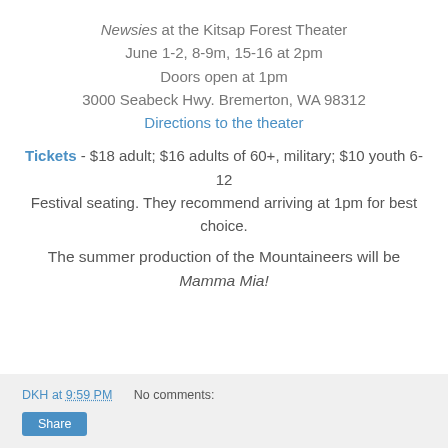Newsies at the Kitsap Forest Theater
June 1-2, 8-9m, 15-16 at 2pm
Doors open at 1pm
3000 Seabeck Hwy. Bremerton, WA 98312
Directions to the theater
Tickets - $18 adult; $16 adults of 60+, military; $10 youth 6-12
Festival seating. They recommend arriving at 1pm for best choice.
The summer production of the Mountaineers will be Mamma Mia!
DKH at 9:59 PM   No comments:   Share